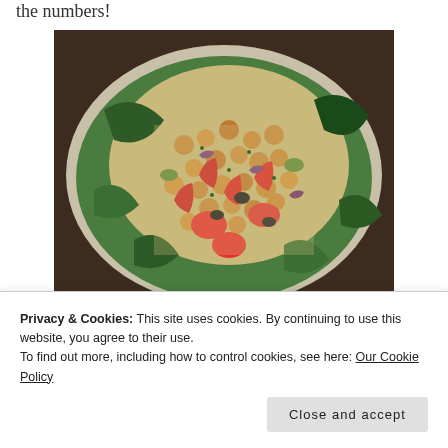the numbers!
[Figure (photo): A colorful salad bowl with chickpeas, red bell peppers, tomatoes, olives, cucumber, purple onion, couscous or quinoa grains, and greens on a plate]
Privacy & Cookies: This site uses cookies. By continuing to use this website, you agree to their use.
To find out more, including how to control cookies, see here: Our Cookie Policy
Close and accept